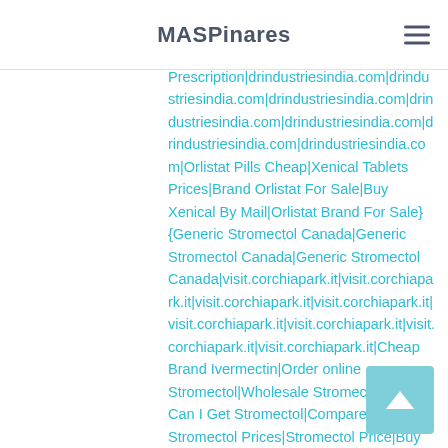MASPinares
Prescription|drindustriesindia.com|drindustriesindia.com|drindustriesindia.com|drindustriesindia.com|drindustriesindia.com|drindustriesindia.com|drindustriesindia.com|Orlistat Pills Cheap|Xenical Tablets Prices|Brand Orlistat For Sale|Buy Xenical By Mail|Orlistat Brand For Sale} {Generic Stromectol Canada|Generic Stromectol Canada|Generic Stromectol Canada|visit.corchiapark.it|visit.corchiapark.it|visit.corchiapark.it|visit.corchiapark.it|visit.corchiapark.it|visit.corchiapark.it|visit.corchiapark.it|visit.corchiapark.it|Cheap Brand Ivermectin|Order online Stromectol|Wholesale Stromectol|Where Can I Get Stromectol|Compare Stromectol Prices|Stromectol Price|Buy